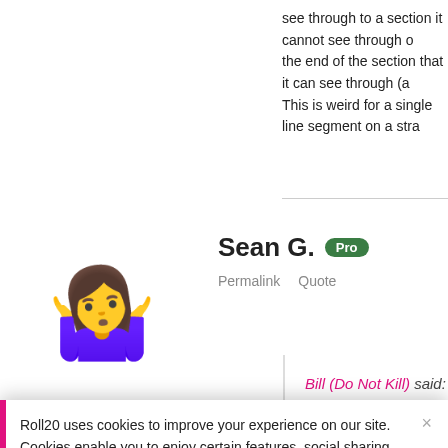see through to a section it cannot see through o... the end of the section that it can see through (a... This is weird for a single line segment on a stra...
[Figure (illustration): Shrugging woman emoji with blonde hair and purple shirt]
Sean G. Pro
Permalink  Quote
Bill (Do Not Kill) said:
Roll20 uses cookies to improve your experience on our site. Cookies enable you to enjoy certain features, social sharing functionality, and tailor message and display ads to your interests on our site and others. They also help us understand how our site is being used. By continuing to use our site, you consent to our use of cookies. Update your cookie preferences here.